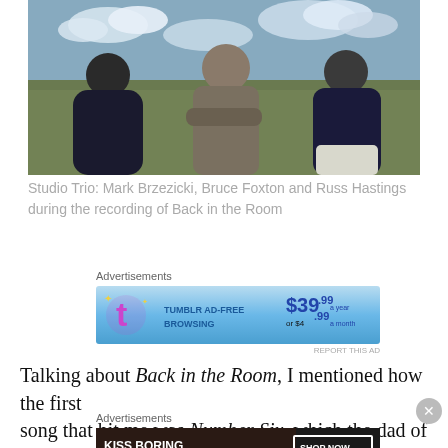[Figure (photo): Photo of three men standing outdoors in a field. Left figure in dark shirt, center figure in grey jacket with arms crossed, right figure in dark sweater and white trousers. Cloudy sky in background.]
Studio Trio: Mark Brzezicki, Bruce Foxton and Russ Hastings during the recording of Back in the Room
[Figure (screenshot): Advertisement banner for Tumblr Ad-Free Browsing. Shows Tumblr 't' logo, text 'TUMBLR AD-FREE BROWSING', price $39.99 a year or $4.99 a month. Blue gradient background.]
Talking about Back in the Room, I mentioned how the first song that hit me was Number Six, which the dad of 15 an...
[Figure (screenshot): Advertisement banner for Macy's. Shows text 'KISS BORING LIPS GOODBYE' with woman's face and red lips on dark background. SHOP NOW button and Macy's star logo on right side.]